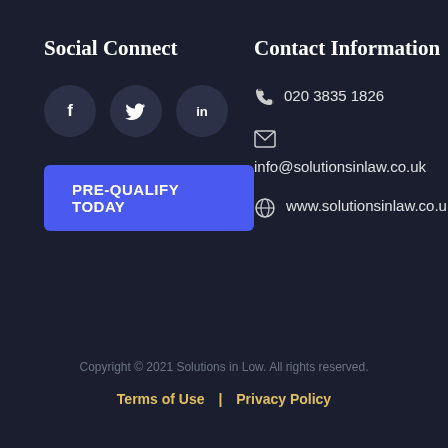Social Connect
[Figure (infographic): Three social media icons: Facebook (f), Twitter (bird), LinkedIn (in) arranged in circles]
PRE-QUALIFY TODAY
Contact Information
020 3835 1826
info@solutionsinlaw.co.uk
www.solutionsinlaw.co.uk
Copyright © 2021 Solutions in Low. All rights reserved.
Terms of Use | Privacy Policy